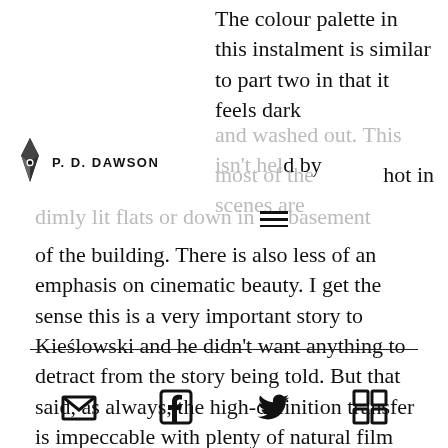[Figure (logo): P.D. Dawson author logo with pen nib icon and bold capitalized name]
The colour palette in this instalment is similar to part two in that it feels dark and washed out. This isn't helped by most of the scenes are hot in dimly lit flats or down in the basement of the building. There is also less of an emphasis on cinematic beauty. I get the sense this is a very important story to Kieślowski and he didn't want anything to detract from the story being told. But that said, as always, the high-definition transfer is impeccable with plenty of natural film grain present.
[Figure (infographic): Social sharing icon bar with email, Facebook, Twitter, and grid/RSS icons separated by a horizontal rule]